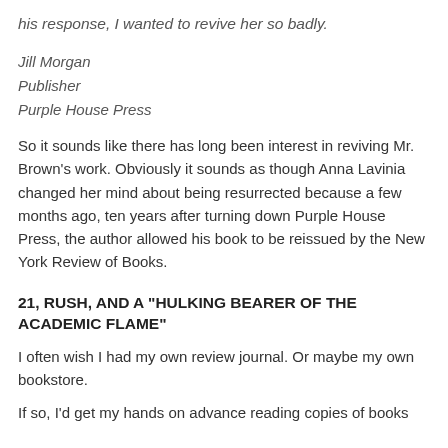his response, I wanted to revive her so badly.
Jill Morgan
Publisher
Purple House Press
So it sounds like there has long been interest in reviving Mr. Brown's work. Obviously it sounds as though Anna Lavinia changed her mind about being resurrected because a few months ago, ten years after turning down Purple House Press, the author allowed his book to be reissued by the New York Review of Books.
21, RUSH, AND A "HULKING BEARER OF THE ACADEMIC FLAME"
I often wish I had my own review journal. Or maybe my own bookstore.
If so, I'd get my hands on advance reading copies of books